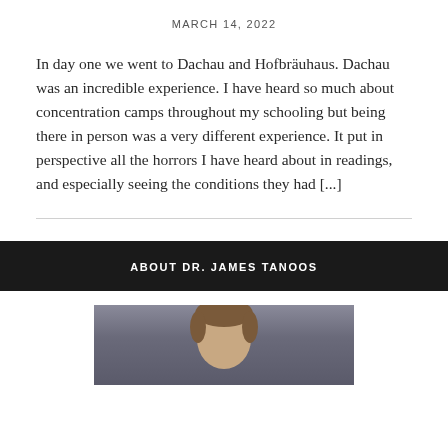MARCH 14, 2022
In day one we went to Dachau and Hofbräuhaus. Dachau was an incredible experience. I have heard so much about concentration camps throughout my schooling but being there in person was a very different experience. It put in perspective all the horrors I have heard about in readings, and especially seeing the conditions they had [...]
ABOUT DR. JAMES TANOOS
[Figure (photo): Portrait photo of Dr. James Tanoos, showing a person with brown hair against a grey background, cropped at top of frame]